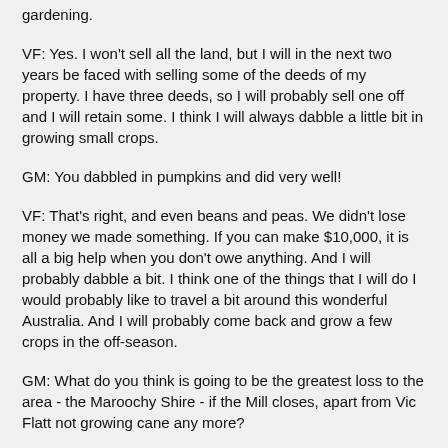gardening.
VF: Yes. I won't sell all the land, but I will in the next two years be faced with selling some of the deeds of my property. I have three deeds, so I will probably sell one off and I will retain some. I think I will always dabble a little bit in growing small crops.
GM: You dabbled in pumpkins and did very well!
VF: That's right, and even beans and peas. We didn't lose money we made something. If you can make $10,000, it is all a big help when you don't owe anything. And I will probably dabble a bit. I think one of the things that I will do I would probably like to travel a bit around this wonderful Australia. And I will probably come back and grow a few crops in the off-season.
GM: What do you think is going to be the greatest loss to the area - the Maroochy Shire - if the Mill closes, apart from Vic Flatt not growing cane any more?
VF: That's right. That is a big question Gary. I think it is a two-pronged thing. I think they are going to lose the scenic beauty of the sugar cane in the area. I think there is nothing prettier than to drive